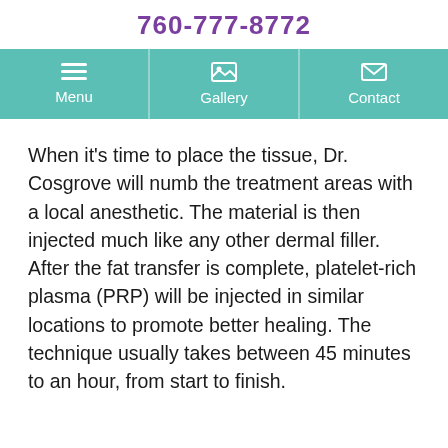760-777-8772
[Figure (screenshot): Navigation bar with Menu, Gallery, and Contact buttons on teal/green background]
When it's time to place the tissue, Dr. Cosgrove will numb the treatment areas with a local anesthetic. The material is then injected much like any other dermal filler. After the fat transfer is complete, platelet-rich plasma (PRP) will be injected in similar locations to promote better healing. The technique usually takes between 45 minutes to an hour, from start to finish.